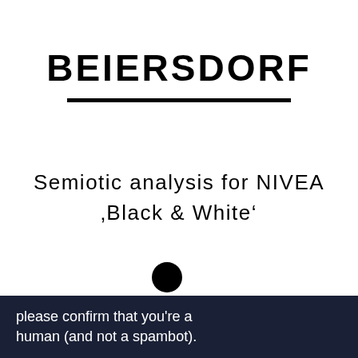BEIERSDORF
Semiotic analysis for NIVEA ‘Black & White’
[Figure (other): A single large black filled circle / bullet point used as a decorative separator]
please confirm that you’re a human (and not a spambot).